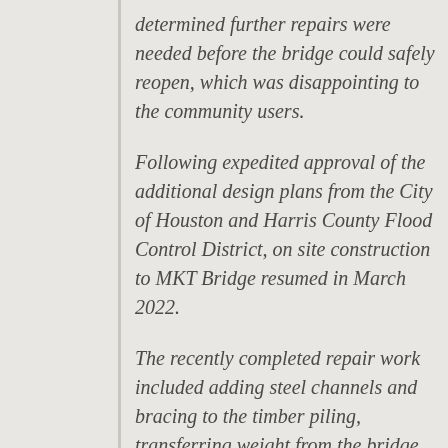determined further repairs were needed before the bridge could safely reopen, which was disappointing to the community users.
Following expedited approval of the additional design plans from the City of Houston and Harris County Flood Control District, on site construction to MKT Bridge resumed in March 2022.
The recently completed repair work included adding steel channels and bracing to the timber piling, transferring weight from the bridge to the ground.
Houston Parks Board is thrilled to have this essential connector reopen in time for summer. Thank you for your understanding as we worked